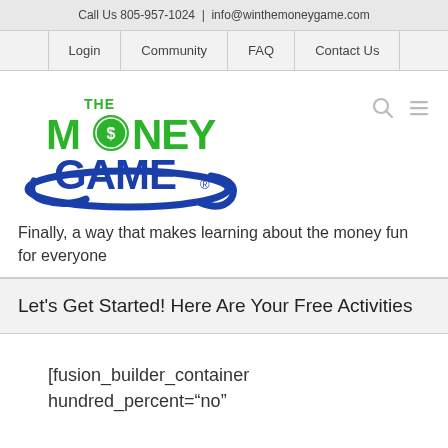Call Us 805-957-1024  |  info@winthemoneygame.com
Login | Community | FAQ | Contact Us
[Figure (logo): The Money Game logo with green stylized text and blue swoosh around it]
Finally, a way that makes learning about the money fun for everyone
Let's Get Started! Here Are Your Free Activities
[fusion_builder_container hundred_percent="no"